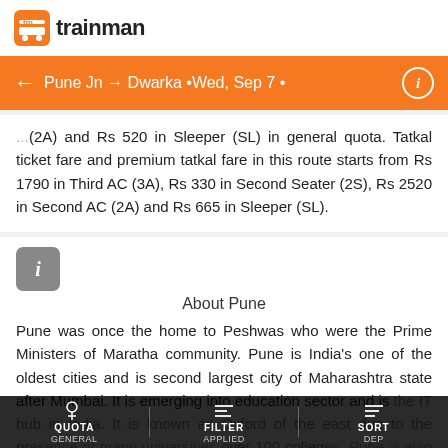tm trainman
Pune Jn → Dwarka •Wed, Sep 7 •
(2A) and Rs 520 in Sleeper (SL) in general quota. Tatkal ticket fare and premium tatkal fare in this route starts from Rs 1790 in Third AC (3A), Rs 330 in Second Seater (2S), Rs 2520 in Second AC (2A) and Rs 665 in Sleeper (SL).
About Pune
Pune was once the home to Peshwas who were the Prime Ministers of Maratha community. Pune is India's one of the oldest cities and is second largest city of Maharashtra state after Mumbai. It is emerging into education sector and is the IT hub in India. It is known as Oxford of the east due to the presence of many universities over 100 colleges. Pune is also known to have largest number of two-wheeler...
QUOTA GENERAL   FILTER APPLIED   SORT DEP